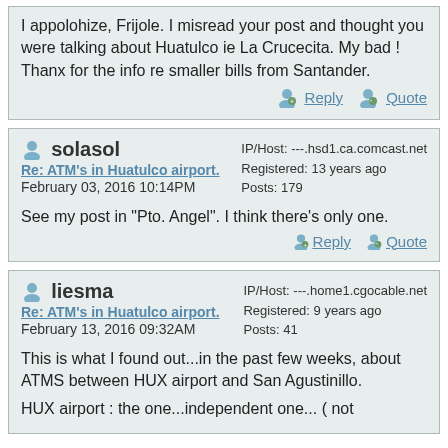I appolohize, Frijole. I misread your post and thought you were talking about Huatulco ie La Crucecita. My bad ! Thanx for the info re smaller bills from Santander.
Reply  Quote
solasol
IP/Host: ---.hsd1.ca.comcast.net
Registered: 13 years ago
Posts: 179
Re: ATM's in Huatulco airport.
February 03, 2016 10:14PM
See my post in "Pto. Angel". I think there's only one.
Reply  Quote
liesma
IP/Host: ---.home1.cgocable.net
Registered: 9 years ago
Posts: 41
Re: ATM's in Huatulco airport.
February 13, 2016 09:32AM
This is what I found out...in the past few weeks, about ATMS between HUX airport and San Agustinillo.
HUX airport : the one...independent one... ( not